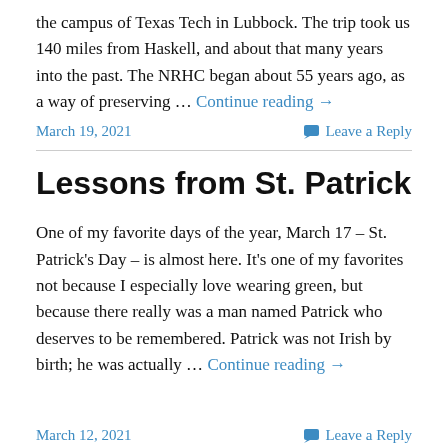the campus of Texas Tech in Lubbock. The trip took us 140 miles from Haskell, and about that many years into the past. The NRHC began about 55 years ago, as a way of preserving … Continue reading →
March 19, 2021
Leave a Reply
Lessons from St. Patrick
One of my favorite days of the year, March 17 – St. Patrick's Day – is almost here. It's one of my favorites not because I especially love wearing green, but because there really was a man named Patrick who deserves to be remembered. Patrick was not Irish by birth; he was actually … Continue reading →
March 12, 2021
Leave a Reply